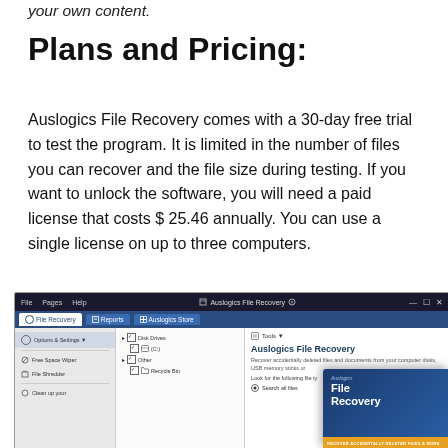your own content.
Plans and Pricing:
Auslogics File Recovery comes with a 30-day free trial to test the program. It is limited in the number of files you can recover and the file size during testing. If you want to unlock the software, you will need a paid license that costs $ 25.46 annually. You can use a single license on up to three computers.
[Figure (screenshot): Screenshot of Auslogics File Recovery software interface showing the main window with File Recovery, Reports, and Auslogics Store tabs. Left sidebar shows Options & Settings, Free Space Wiper, File Shredder menus. Middle panel shows a file tree with Disk Drives, C:, Other, and Recycle Bin checkboxes. Right panel shows Tools menu, Auslogics File Recovery heading, descriptive text, and a software box overlay with File Recovery branding and orange banner.]